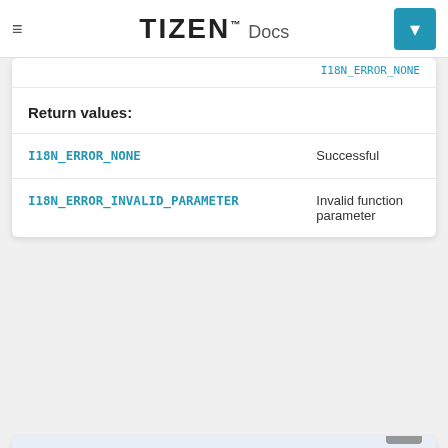TIZEN™ Docs
| Return value | Description |
| --- | --- |
| I18N_ERROR_NONE | Successful |
| I18N_ERROR_INVALID_PARAMETER | Invalid function parameter |
int i18n_ucollator_greater(const i18n_ucollator_h collator, const i18n_uchar * src, int32_t src_len, const i18n_uchar * target,